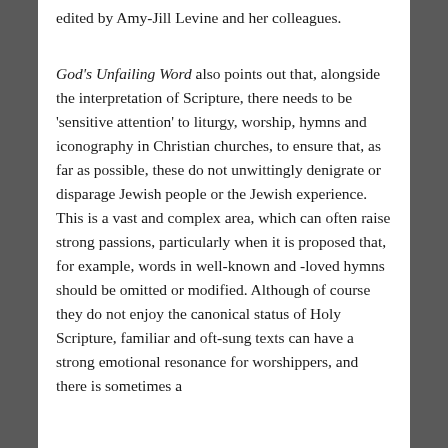edited by Amy-Jill Levine and her colleagues.
God's Unfailing Word also points out that, alongside the interpretation of Scripture, there needs to be 'sensitive attention' to liturgy, worship, hymns and iconography in Christian churches, to ensure that, as far as possible, these do not unwittingly denigrate or disparage Jewish people or the Jewish experience. This is a vast and complex area, which can often raise strong passions, particularly when it is proposed that, for example, words in well-known and -loved hymns should be omitted or modified. Although of course they do not enjoy the canonical status of Holy Scripture, familiar and oft-sung texts can have a strong emotional resonance for worshippers, and there is sometimes a